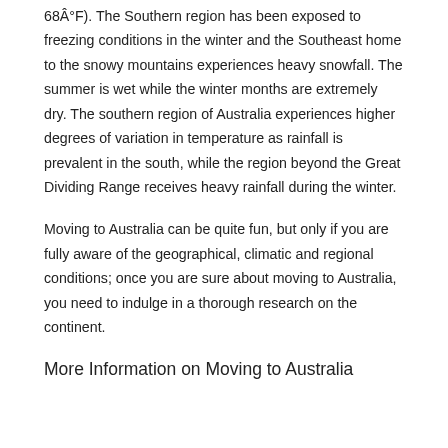68Â°F). The Southern region has been exposed to freezing conditions in the winter and the Southeast home to the snowy mountains experiences heavy snowfall. The summer is wet while the winter months are extremely dry. The southern region of Australia experiences higher degrees of variation in temperature as rainfall is prevalent in the south, while the region beyond the Great Dividing Range receives heavy rainfall during the winter.
Moving to Australia can be quite fun, but only if you are fully aware of the geographical, climatic and regional conditions; once you are sure about moving to Australia, you need to indulge in a thorough research on the continent.
More Information on Moving to Australia